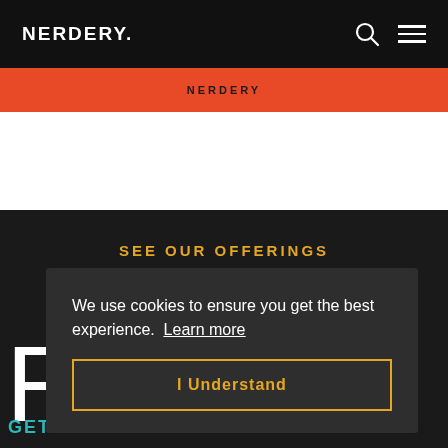NERDERY.
[Figure (screenshot): Nerdery website screenshot showing navigation bar with logo, search icon, hamburger menu, an orange/red banner with NERDERY text, a white section, a dark section with SEE OUR OFFERINGS heading, a large R letter, GET IN TOUCH text at the bottom, and a cookie consent modal overlay with 'We use cookies to ensure you get the best experience. Learn more' text and an 'I Understand' button.]
We use cookies to ensure you get the best experience. Learn more
I Understand
SEE OUR OFFERINGS
GET IN TOUCH